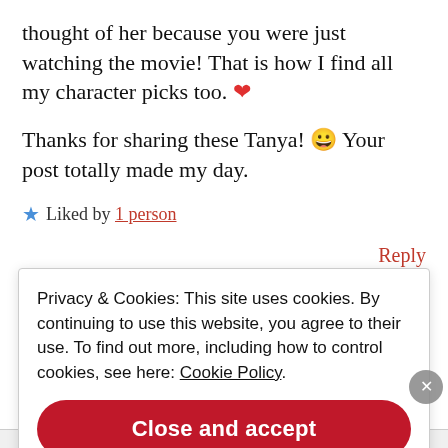thought of her because you were just watching the movie! That is how I find all my character picks too. ❤
Thanks for sharing these Tanya! 😀 Your post totally made my day.
★ Liked by 1 person
Reply
Privacy & Cookies: This site uses cookies. By continuing to use this website, you agree to their use. To find out more, including how to control cookies, see here: Cookie Policy
Close and accept